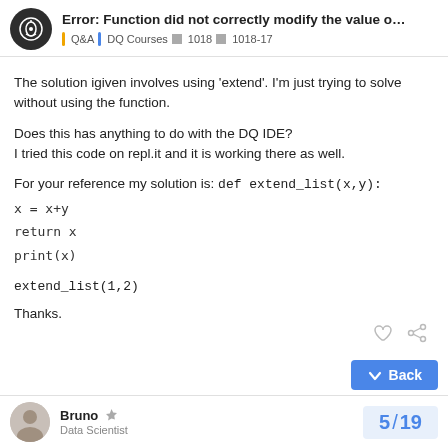Error: Function did not correctly modify the value o... | Q&A | DQ Courses | 1018 | 1018-17
The solution igiven involves using 'extend'. I'm just trying to solve without using the function.

Does this has anything to do with the DQ IDE?
I tried this code on repl.it and it is working there as well.

For your reference my solution is: def extend_list(x,y):
x = x+y
return x
print(x)

extend_list(1,2)

Thanks.
Bruno | Data Scientist | 5/19